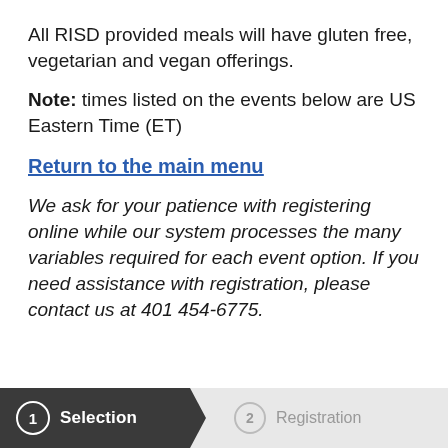All RISD provided meals will have gluten free, vegetarian and vegan offerings.
Note: times listed on the events below are US Eastern Time (ET)
Return to the main menu
We ask for your patience with registering online while our system processes the many variables required for each event option. If you need assistance with registration, please contact us at 401 454-6775.
1 Selection  2 Registration